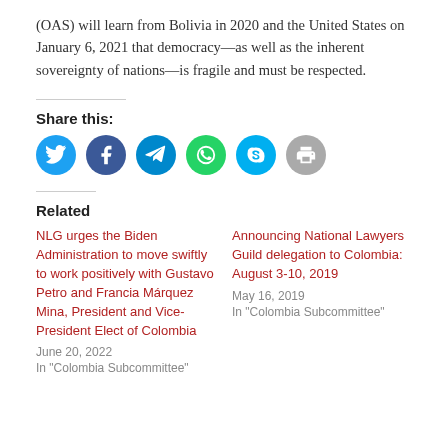(OAS) will learn from Bolivia in 2020 and the United States on January 6, 2021 that democracy—as well as the inherent sovereignty of nations—is fragile and must be respected.
Share this:
[Figure (infographic): Row of social share icon buttons: Twitter (blue), Facebook (dark blue), Telegram (blue), WhatsApp (green), Skype (light blue), Print (gray)]
Related
NLG urges the Biden Administration to move swiftly to work positively with Gustavo Petro and Francia Márquez Mina, President and Vice-President Elect of Colombia
June 20, 2022
In "Colombia Subcommittee"
Announcing National Lawyers Guild delegation to Colombia: August 3-10, 2019
May 16, 2019
In "Colombia Subcommittee"